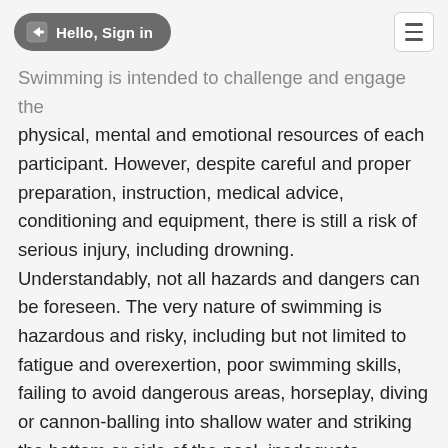Hello, Sign in
Swimming is intended to challenge and engage the physical, mental and emotional resources of each participant. However, despite careful and proper preparation, instruction, medical advice, conditioning and equipment, there is still a risk of serious injury, including drowning. Understandably, not all hazards and dangers can be foreseen. The very nature of swimming is hazardous and risky, including but not limited to fatigue and overexertion, poor swimming skills, failing to avoid dangerous areas, horseplay, diving or cannon-balling into shallow water and striking the bottom or side of the pool, inadequate supervision or instruction, lack of conditioning, becoming disoriented, striking other swimmers, defective or inadequate equipment, striking one's head on the bottom when using a diving block, slip and falls on the deck or within the locker facility, chemical exposure and all other circumstances inherent